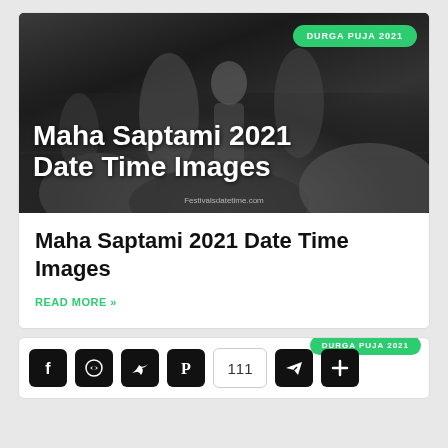[Figure (photo): Black and white photo of Durga Puja celebration with idol and crowd, overlaid with white bold text reading 'Maha Saptami 2021 Date Time Images' and a green badge 'DURGA PUJA 2021']
Maha Saptami 2021 Date Time Images
READ MORE »
[Figure (infographic): Social sharing bar with Facebook, WhatsApp, Twitter, Pinterest icons (dark), share count 111, Telegram and plus icons, and a green 'DURGA PUJA 2021' badge]